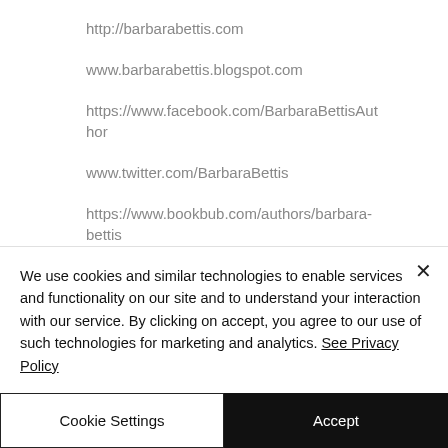http://barbarabettis.com
www.barbarabettis.blogspot.com
https://www.facebook.com/BarbaraBettisAuthor
www.twitter.com/BarbaraBettis
https://www.bookbub.com/authors/barbara-bettis
We use cookies and similar technologies to enable services and functionality on our site and to understand your interaction with our service. By clicking on accept, you agree to our use of such technologies for marketing and analytics. See Privacy Policy
Cookie Settings
Accept